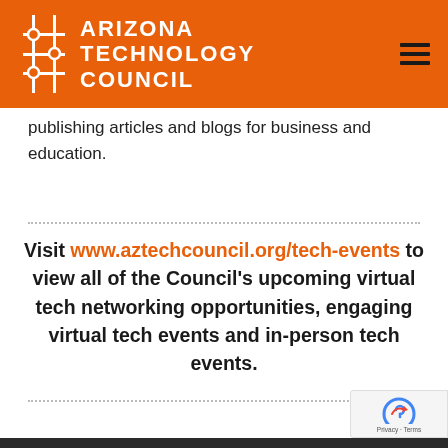Arizona Technology Council
publishing articles and blogs for business and education.
Visit www.aztechcouncil.org/tech-events to view all of the Council's upcoming virtual tech networking opportunities, engaging virtual tech events and in-person tech events.